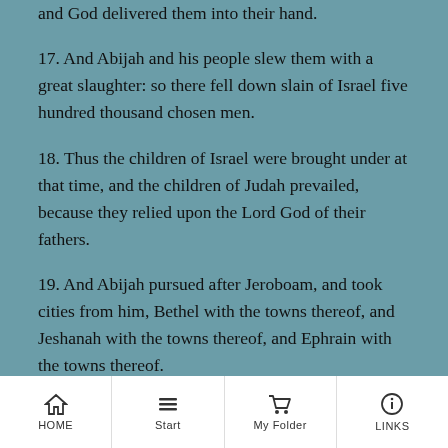and God delivered them into their hand.
17. And Abijah and his people slew them with a great slaughter: so there fell down slain of Israel five hundred thousand chosen men.
18. Thus the children of Israel were brought under at that time, and the children of Judah prevailed, because they relied upon the Lord God of their fathers.
19. And Abijah pursued after Jeroboam, and took cities from him, Bethel with the towns thereof, and Jeshanah with the towns thereof, and Ephrain with the towns thereof.
20. Neither did Jeroboam recover strength again
HOME  Start  My Folder  LINKS